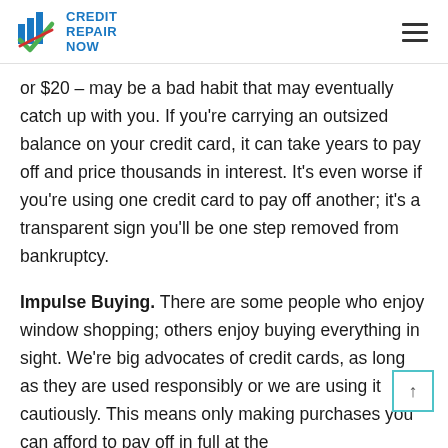CREDIT REPAIR NOW
or $20 – may be a bad habit that may eventually catch up with you. If you're carrying an outsized balance on your credit card, it can take years to pay off and price thousands in interest. It's even worse if you're using one credit card to pay off another; it's a transparent sign you'll be one step removed from bankruptcy.
Impulse Buying. There are some people who enjoy window shopping; others enjoy buying everything in sight. We're big advocates of credit cards, as long as they are used responsibly or we are using it cautiously. This means only making purchases you can afford to pay off in full at the